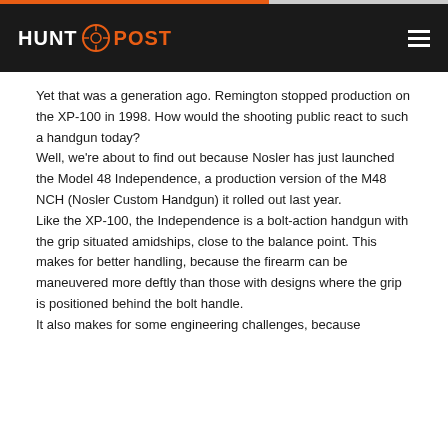HUNT POST
Yet that was a generation ago. Remington stopped production on the XP-100 in 1998. How would the shooting public react to such a handgun today?
Well, we're about to find out because Nosler has just launched the Model 48 Independence, a production version of the M48 NCH (Nosler Custom Handgun) it rolled out last year.
Like the XP-100, the Independence is a bolt-action handgun with the grip situated amidships, close to the balance point. This makes for better handling, because the firearm can be maneuvered more deftly than those with designs where the grip is positioned behind the bolt handle.
It also makes for some engineering challenges, because